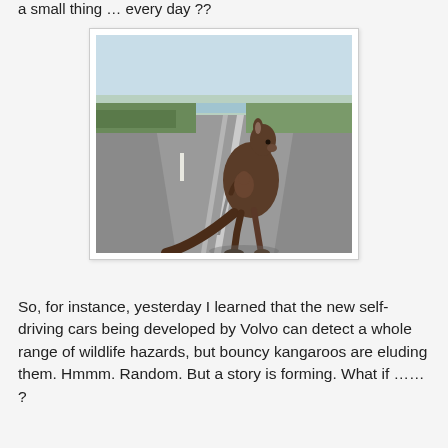a small thing … every day ??
[Figure (photo): A kangaroo standing upright on the center line of a rural road, facing right with its back to the camera, scrubland and ocean visible in the background under a pale sky.]
So, for instance, yesterday I learned that the new self-driving cars being developed by Volvo can detect a whole range of wildlife hazards, but bouncy kangaroos are eluding them. Hmmm. Random. But a story is forming. What if …… ?